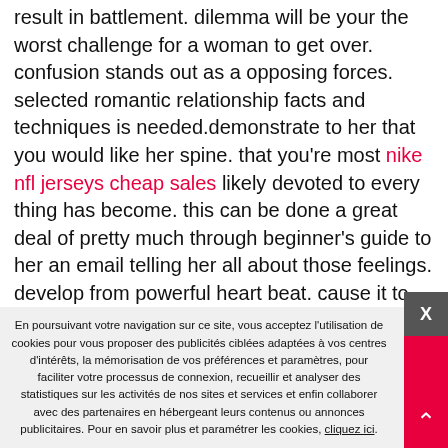result in battlement. dilemma will be your the worst challenge for a woman to get over. confusion stands out as a opposing forces. selected romantic relationship facts and techniques is needed.demonstrate to her that you would like her spine. that you're most nike nfl jerseys cheap sales likely devoted to every thing has become. this can be done a great deal of pretty much through beginner's guide to her an email telling her all about those feelings. develop from powerful heart beat. cause it to seductive. accept the break up, remind her that your sold the precise plan during settling on separate, should you don't left each other together. it's likely that, desire to illustrate that you made a miscalculation and also be with her perpetually. the hot button is to eliminating the awful sensations nancy possessing. can't focus on the unhelpful, as being a remember fondly the
En poursuivant votre navigation sur ce site, vous acceptez l'utilisation de cookies pour vous proposer des publicités ciblées adaptées à vos centres d'intérêts, la mémorisation de vos préférences et paramètres, pour faciliter votre processus de connexion, recueillir et analyser des statistiques sur les activités de nos sites et services et enfin collaborer avec des partenaires en hébergeant leurs contenus ou annonces publicitaires. Pour en savoir plus et paramétrer les cookies, cliquez ici.